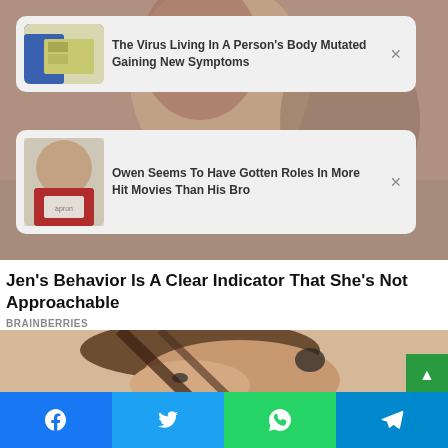[Figure (screenshot): Background photo of people, blurred]
The Virus Living In A Person's Body Mutated Gaining New Symptoms
Owen Seems To Have Gotten Roles In More Hit Movies Than His Bro
Jen's Behavior Is A Clear Indicator That She's Not Approachable
BRAINBERRIES
[Figure (photo): Photo of a young woman with dark hair]
Social share buttons: Facebook, Twitter, WhatsApp, Telegram